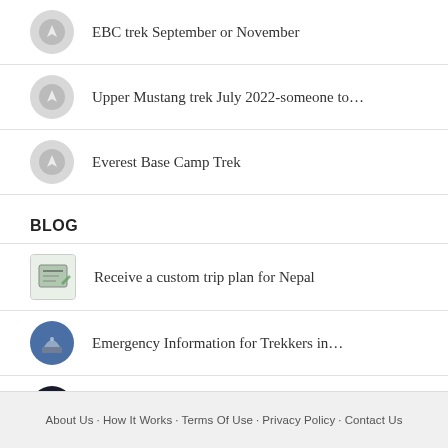EBC trek September or November
Upper Mustang trek July 2022-someone to…
Everest Base Camp Trek
BLOG
Receive a custom trip plan for Nepal
Emergency Information for Trekkers in…
Top 12 Best Treks in Nepal
How to Book Your Trek in Nepal
How to Hire a Guide in Nepal
About Us · How It Works · Terms Of Use · Privacy Policy · Contact Us